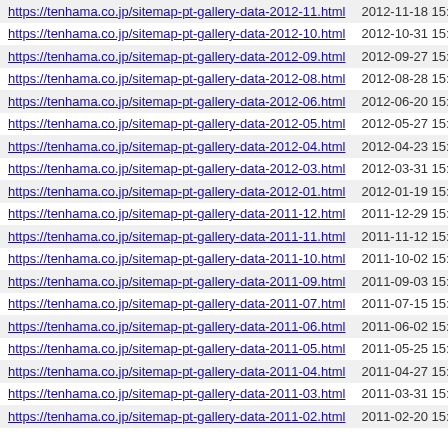| URL | Date |
| --- | --- |
| https://tenhama.co.jp/sitemap-pt-gallery-data-2012-11.html | 2012-11-18 15:00 |
| https://tenhama.co.jp/sitemap-pt-gallery-data-2012-10.html | 2012-10-31 15:00 |
| https://tenhama.co.jp/sitemap-pt-gallery-data-2012-09.html | 2012-09-27 15:00 |
| https://tenhama.co.jp/sitemap-pt-gallery-data-2012-08.html | 2012-08-28 15:00 |
| https://tenhama.co.jp/sitemap-pt-gallery-data-2012-06.html | 2012-06-20 15:00 |
| https://tenhama.co.jp/sitemap-pt-gallery-data-2012-05.html | 2012-05-27 15:00 |
| https://tenhama.co.jp/sitemap-pt-gallery-data-2012-04.html | 2012-04-23 15:00 |
| https://tenhama.co.jp/sitemap-pt-gallery-data-2012-03.html | 2012-03-31 15:00 |
| https://tenhama.co.jp/sitemap-pt-gallery-data-2012-01.html | 2012-01-19 15:00 |
| https://tenhama.co.jp/sitemap-pt-gallery-data-2011-12.html | 2011-12-29 15:00 |
| https://tenhama.co.jp/sitemap-pt-gallery-data-2011-11.html | 2011-11-12 15:00 |
| https://tenhama.co.jp/sitemap-pt-gallery-data-2011-10.html | 2011-10-02 15:00 |
| https://tenhama.co.jp/sitemap-pt-gallery-data-2011-09.html | 2011-09-03 15:00 |
| https://tenhama.co.jp/sitemap-pt-gallery-data-2011-07.html | 2011-07-15 15:00 |
| https://tenhama.co.jp/sitemap-pt-gallery-data-2011-06.html | 2011-06-02 15:00 |
| https://tenhama.co.jp/sitemap-pt-gallery-data-2011-05.html | 2011-05-25 15:00 |
| https://tenhama.co.jp/sitemap-pt-gallery-data-2011-04.html | 2011-04-27 15:00 |
| https://tenhama.co.jp/sitemap-pt-gallery-data-2011-03.html | 2011-03-31 15:00 |
| https://tenhama.co.jp/sitemap-pt-gallery-data-2011-02.html | 2011-02-20 15:00 |